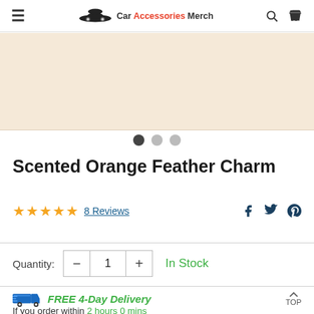Car Accessories Merch
[Figure (photo): Product image area showing orange feather charm, with light orange/cream background]
[Figure (other): Carousel dots: three circles, first one dark (active), two light gray]
Scented Orange Feather Charm
★★★★★ 8 Reviews
Quantity: - 1 + In Stock
FREE 4-Day Delivery
If you order within 2 hours 0 mins